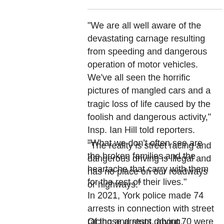"We are all well aware of the devastating carnage resulting from speeding and dangerous operation of motor vehicles. We've all seen the horrific pictures of mangled cars and a tragic loss of life caused by the foolish and dangerous activity," Insp. Ian Hill told reporters. "What we don't often see are the broken families and the heartache that carry with them for the rest of their lives."
"The reality is street racing and dangerous driving is illegal and has no place on our roadways or highways."
In 2021, York police made 74 arrests in connection with street racing and stunt driving.
Of those arrests, about 70 were part of Project Takeover, a probe into organized stunt driving in the Greater Toronto Area.
There were 68 criminal code charges laid, in addition to 510 traffic highway act charges.